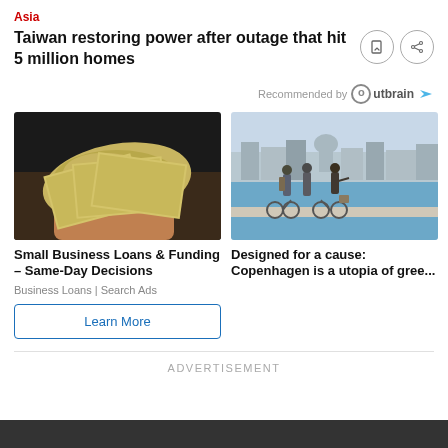Asia
Taiwan restoring power after outage that hit 5 million homes
Recommended by Outbrain
[Figure (photo): Hand holding a fan of US dollar bills]
Small Business Loans & Funding – Same-Day Decisions
Business Loans | Search Ads
Learn More
[Figure (photo): Three people with bicycles standing near a waterfront with city buildings in background]
Designed for a cause: Copenhagen is a utopia of gree...
ADVERTISEMENT